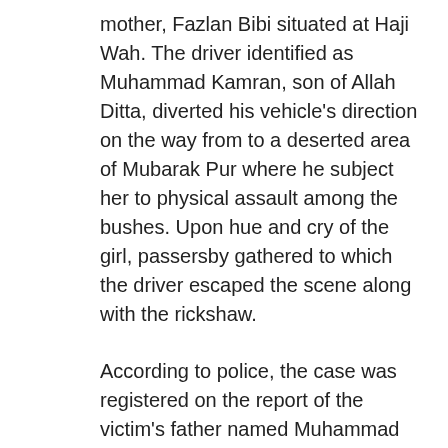mother, Fazlan Bibi situated at Haji Wah. The driver identified as Muhammad Kamran, son of Allah Ditta, diverted his vehicle's direction on the way from to a deserted area of Mubarak Pur where he subject her to physical assault among the bushes. Upon hue and cry of the girl, passersby gathered to which the driver escaped the scene along with the rickshaw.
According to police, the case was registered on the report of the victim's father named Muhammad Ejaz, son of Elahi Bukhsh after taking her medical report.
It's the third consecutive incident that occurred in the past 24 hours in the jurisdiction of the same police station. Yesterday, a girl was molested during her morning walk and the accused killed her brother